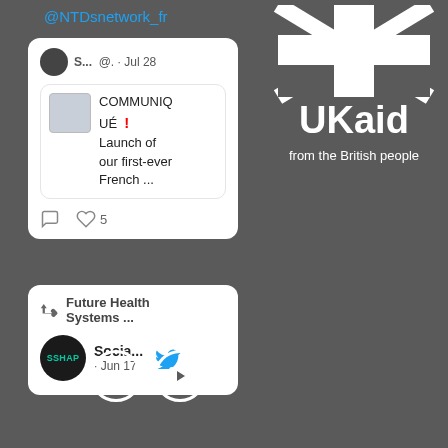@NTDsnetwork_fr
[Figure (screenshot): Tweet card showing S... @. · Jul 28 with COMMUNIQUÉ ! Launch of our first-ever French ... with 5 likes]
[Figure (screenshot): Tweet card showing retweeted by Future Health Systems ... and Socia... · Jun 17 with SSHAP avatar and Twitter bird icon]
[Figure (logo): UK Aid logo - from the British people, white on dark grey background]
[Figure (logo): Flickr and YouTube social media icon circles in white outline]